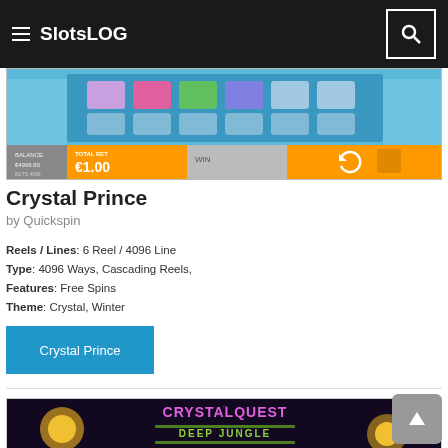SlotsLOG
[Figure (screenshot): Crystal Prince slot game screenshot showing game reels with crystal symbols and game UI bar showing BALANCE €4998.80, BETS 4096, TOTAL BET €1.00, WIN]
Crystal Prince
by Quickspin
Reels / Lines: 6 Reel / 4096 Line
Type: 4096 Ways, Cascading Reels,
Features: Free Spins
Theme: Crystal, Winter
Crystal Prince
[Figure (screenshot): Crystal Quest Deep Jungle slot game screenshot showing colorful jungle theme with glowing orbs and Crystal Quest Deep Jungle logo]